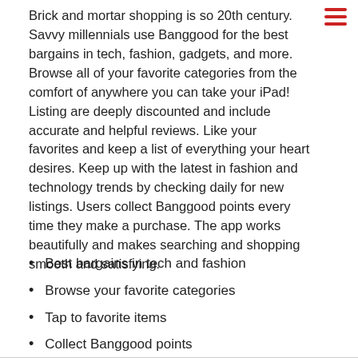Brick and mortar shopping is so 20th century. Savvy millennials use Banggood for the best bargains in tech, fashion, gadgets, and more. Browse all of your favorite categories from the comfort of anywhere you can take your iPad! Listing are deeply discounted and include accurate and helpful reviews. Like your favorites and keep a list of everything your heart desires. Keep up with the latest in fashion and technology trends by checking daily for new listings. Users collect Banggood points every time they make a purchase. The app works beautifully and makes searching and shopping smooth and satisfying.
Best bargains in tech and fashion
Browse your favorite categories
Tap to favorite items
Collect Banggood points
Free gadget app for iPad